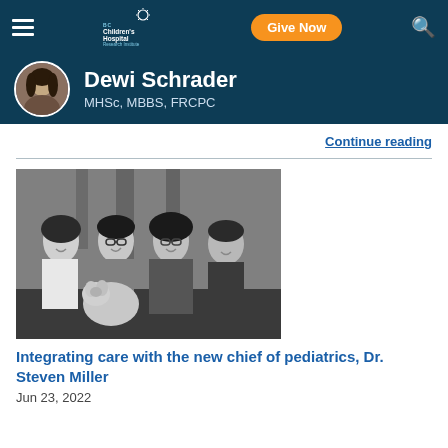BC Children's Hospital Research Institute – Navigation bar with Give Now button
Dewi Schrader
MHSc, MBBS, FRCPC
Continue reading
[Figure (photo): Black and white photo of a family of four people (two adults, two teenagers) and a fluffy dog, sitting together outdoors in front of trees, all smiling.]
Integrating care with the new chief of pediatrics, Dr. Steven Miller
Jun 23, 2022